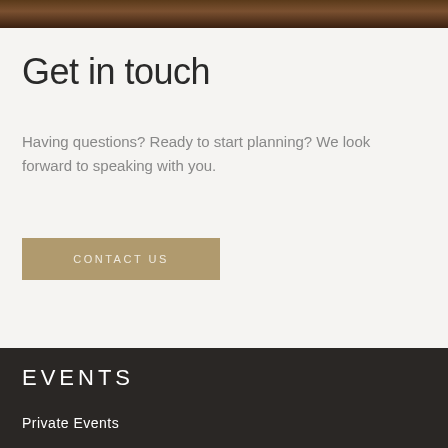[Figure (photo): Dark brown wood or stone texture at the top of the page]
Get in touch
Having questions? Ready to start planning? We look forward to speaking with you.
CONTACT US
EVENTS
Private Events